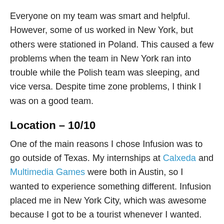Everyone on my team was smart and helpful. However, some of us worked in New York, but others were stationed in Poland. This caused a few problems when the team in New York ran into trouble while the Polish team was sleeping, and vice versa. Despite time zone problems, I think I was on a good team.
Location – 10/10
One of the main reasons I chose Infusion was to go outside of Texas. My internships at Calxeda and Multimedia Games were both in Austin, so I wanted to experience something different. Infusion placed me in New York City, which was awesome because I got to be a tourist whenever I wanted.